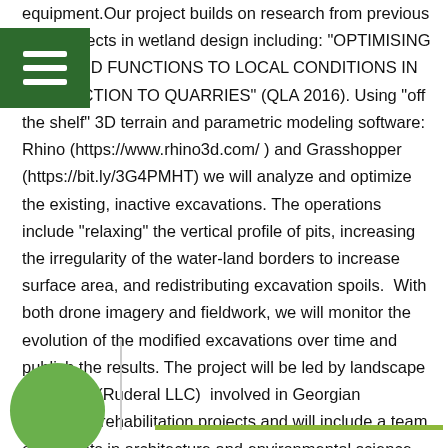equipment.Our project builds on research from previous QLA projects in wetland design including: "OPTIMISING WETLAND FUNCTIONS TO LOCAL CONDITIONS IN CONNECTION TO QUARRIES" (QLA 2016). Using "off the shelf" 3D terrain and parametric modeling software: Rhino (https://www.rhino3d.com/ ) and Grasshopper (https://bit.ly/3G4PMHT) we will analyze and optimize the existing, inactive excavations. The operations include "relaxing" the vertical profile of pits, increasing the irregularity of the water-land borders to increase surface area, and redistributing excavation spoils.  With both drone imagery and fieldwork, we will monitor the evolution of the modified excavations over time and publish the results. The project will be led by landscape architects (Ruderal LLC)  involved in Georgian ecological rehabilitation projects and will include a team of students in architecture and environmental science.